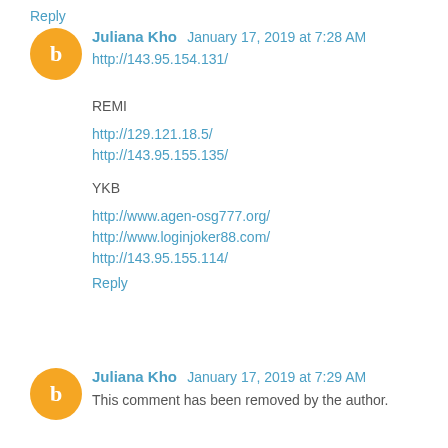Reply
Juliana Kho January 17, 2019 at 7:28 AM
http://143.95.154.131/
REMI
http://129.121.18.5/
http://143.95.155.135/
YKB
http://www.agen-osg777.org/
http://www.loginjoker88.com/
http://143.95.155.114/
Reply
Juliana Kho January 17, 2019 at 7:29 AM
This comment has been removed by the author.